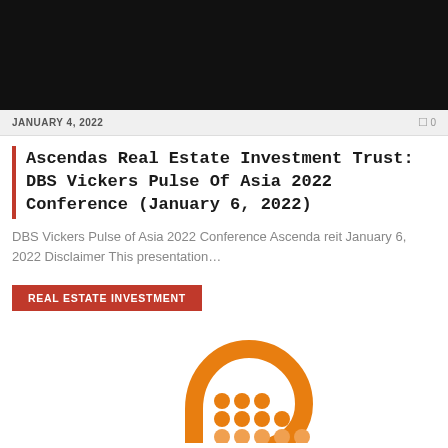[Figure (photo): Dark banner image at the top of the page]
JANUARY 4, 2022   0
Ascendas Real Estate Investment Trust: DBS Vickers Pulse Of Asia 2022 Conference (January 6, 2022)
DBS Vickers Pulse of Asia 2022 Conference Ascenda reit January 6, 2022 Disclaimer This presentation...
REAL ESTATE INVESTMENT
[Figure (logo): Orange brain/head icon with dots pattern suggesting AI or analytics]